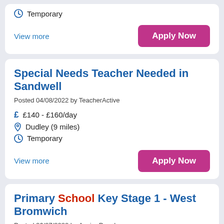Temporary
View more
Apply Now
Special Needs Teacher Needed in Sandwell
Posted 04/08/2022 by TeacherActive
£140 - £160/day
Dudley (9 miles)
Temporary
View more
Apply Now
Primary School Key Stage 1 - West Bromwich
Posted 26/07/2022 by Aspire People
£115 - £160/day